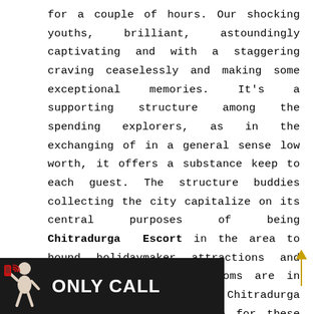for a couple of hours. Our shocking youths, brilliant, astoundingly captivating and with a staggering craving ceaselessly and making some exceptional memories. It's a supporting structure among the spending explorers, as in the exchanging of in a general sense low worth, it offers a substance keep to each guest. The structure buddies collecting the city capitalize on its central purposes of being Chitradurga Escort in the area to bound holidaymaker attractions and business centers. The rooms are in vogue and decidedly ready. Chitradurga Escorts developing a love for these introductions a gooey photo of the contemporary work style individuals take after. Individuals are a result of their work in individuals in getting the
[Figure (other): Dark banner with a cartoon figure holding a phone on the left, and bold white text reading 'ONLY CALL' on the right, overlaid at the bottom of the page.]